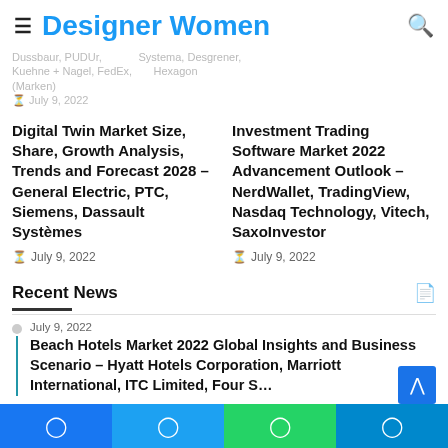Designer Women
Dussbaur, PUDUr, Systema, Desgrener, Kuehne + Nagel, FedEx, Hexagon (Marken)
July 9, 2022
Digital Twin Market Size, Share, Growth Analysis, Trends and Forecast 2028 – General Electric, PTC, Siemens, Dassault Systèmes
July 9, 2022
Investment Trading Software Market 2022 Advancement Outlook – NerdWallet, TradingView, Nasdaq Technology, Vitech, SaxoInvestor
July 9, 2022
Recent News
July 9, 2022
Beach Hotels Market 2022 Global Insights and Business Scenario – Hyatt Hotels Corporation, Marriott International, ITC Limited, Four S...